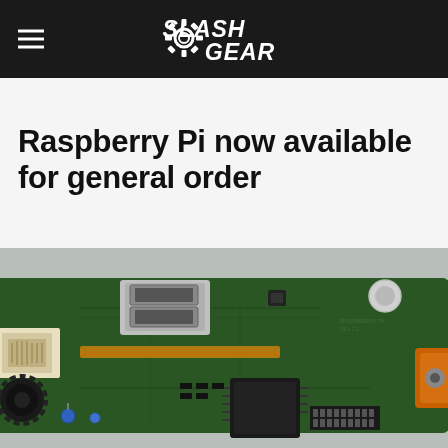SlashGear
Raspberry Pi now available for general order
[Figure (photo): Close-up photograph of a Raspberry Pi single-board computer (green PCB) showing USB port, ethernet port, audio jack, and various electronic components on a light grey surface]